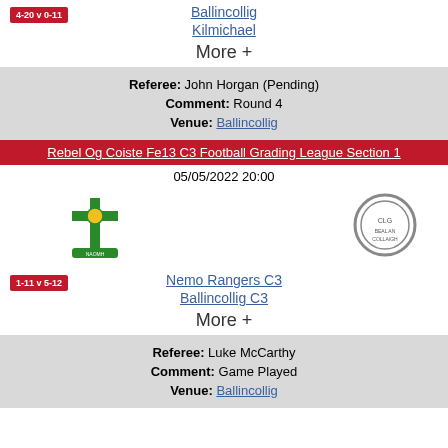4-20 v 0-11
Ballincollig
Kilmichael
More +
Referee: John Horgan (Pending)
Comment: Round 4
Venue: Ballincollig
Rebel Og Coiste Fe13 C3 Football Grading League Section 1
05/05/2022 20:00
[Figure (logo): Nemo Rangers club crest - green cross on yellow background]
[Figure (logo): Ballincollig C3 club crest - circular grey badge]
1-11 v 5-12
Nemo Rangers C3
Ballincollig C3
More +
Referee: Luke McCarthy
Comment: Game Played
Venue: Ballincollig